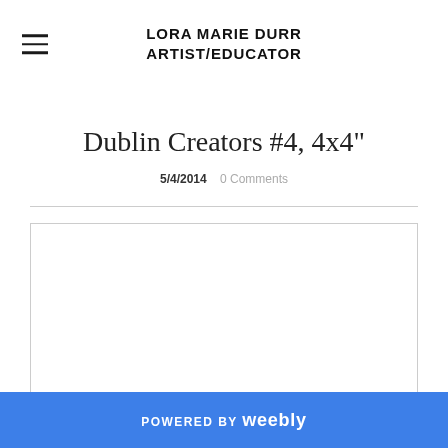LORA MARIE DURR
ARTIST/EDUCATOR
Dublin Creators #4, 4x4"
5/4/2014   0 Comments
[Figure (photo): Image placeholder area with light border, content not visible]
POWERED BY weebly